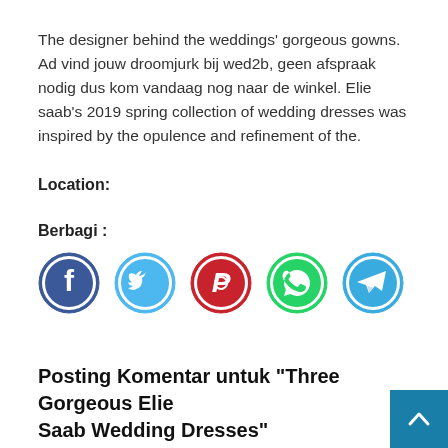The designer behind the weddings' gorgeous gowns. Ad vind jouw droomjurk bij wed2b, geen afspraak nodig dus kom vandaag nog naar de winkel. Elie saab's 2019 spring collection of wedding dresses was inspired by the opulence and refinement of the.
Location:
Berbagi :
[Figure (infographic): Row of five social media share icons: Facebook (dark blue), Twitter (light blue), Pinterest (red), WhatsApp (green), Telegram (blue)]
Posting Komentar untuk "Three Gorgeous Elie Saab Wedding Dresses"